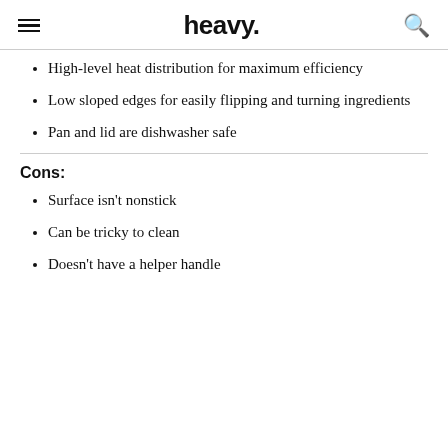heavy.
High-level heat distribution for maximum efficiency
Low sloped edges for easily flipping and turning ingredients
Pan and lid are dishwasher safe
Cons:
Surface isn't nonstick
Can be tricky to clean
Doesn't have a helper handle